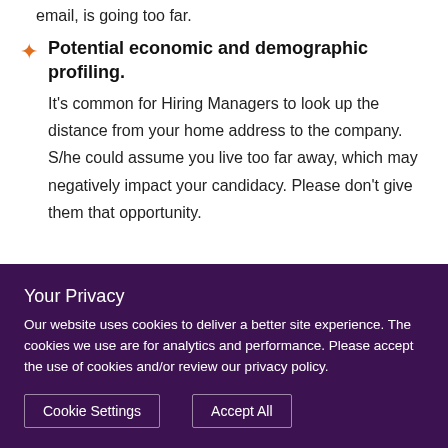email, is going too far.
Potential economic and demographic profiling. It's common for Hiring Managers to look up the distance from your home address to the company. S/he could assume you live too far away, which may negatively impact your candidacy. Please don't give them that opportunity.
Your Privacy
Our website uses cookies to deliver a better site experience. The cookies we use are for analytics and performance. Please accept the use of cookies and/or review our privacy policy.
Cookie Settings   Accept All